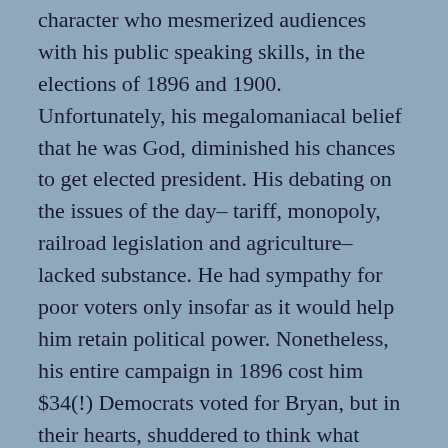William Jennings Bryan was an iconic colorful character who mesmerized audiences with his public speaking skills, in the elections of 1896 and 1900. Unfortunately, his megalomaniacal belief that he was God, diminished his chances to get elected president. His debating on the issues of the day– tariff, monopoly, railroad legislation and agriculture– lacked substance. He had sympathy for poor voters only insofar as it would help him retain political power. Nonetheless, his entire campaign in 1896 cost him $34(!) Democrats voted for Bryan, but in their hearts, shuddered to think what would happen if he was elected.
In 1905, in a ten-week investigation, Charles Evans Hughes, as corporate attorney for the